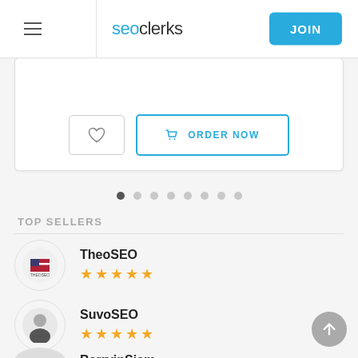seoclerks | JOIN
[Figure (screenshot): Heart/favorite button and ORDER NOW button with cart icon]
[Figure (other): Carousel pagination dots, 8 dots with first one active/filled]
TOP SELLERS
TheoSEO — 5 stars
SuvoSEO — 5 stars
BarryinSiam